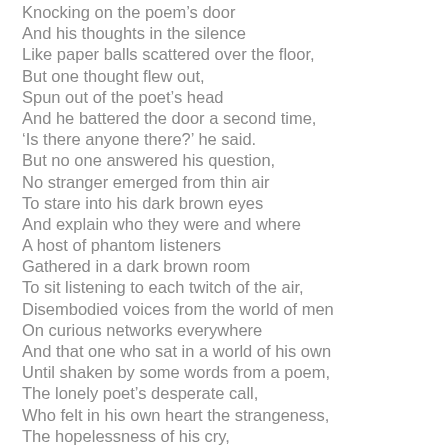Knocking on the poem's door
And his thoughts in the silence
Like paper balls scattered over the floor,
But one thought flew out,
Spun out of the poet's head
And he battered the door a second time,
'Is there anyone there?' he said.
But no one answered his question,
No stranger emerged from thin air
To stare into his dark brown eyes
And explain who they were and where
A host of phantom listeners
Gathered in a dark brown room
To sit listening to each twitch of the air,
Disembodied voices from the world of men
On curious networks everywhere
And that one who sat in a world of his own
Until shaken by some words from a poem,
The lonely poet's desperate call,
Who felt in his own heart the strangeness,
The hopelessness of his cry,
Born of sights and thoughts too dark